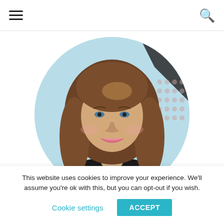Navigation bar with hamburger menu and search icon
[Figure (photo): Circular cropped portrait photo of a woman with long wavy brown hair, wearing a black leather jacket, smiling, in front of a light blue wall with abstract mural]
This website uses cookies to improve your experience. We'll assume you're ok with this, but you can opt-out if you wish.
Cookie settings   ACCEPT